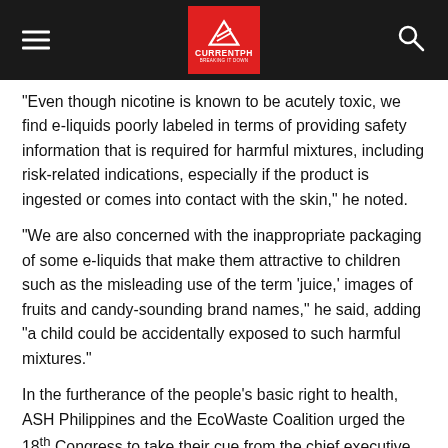CURRENTPH
“Even though nicotine is known to be acutely toxic, we find e-liquids poorly labeled in terms of providing safety information that is required for harmful mixtures, including risk-related indications, especially if the product is ingested or comes into contact with the skin,” he noted.
“We are also concerned with the inappropriate packaging of some e-liquids that make them attractive to children such as the misleading use of the term ‘juice,’ images of fruits and candy-sounding brand names,” he said, adding “a child could be accidentally exposed to such harmful mixtures.”
In the furtherance of the people’s basic right to health, ASH Philippines and the EcoWaste Coalition urged the 18th Congress to take their cue from the chief executive in the